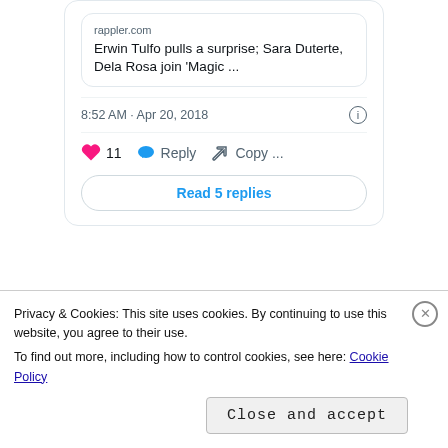[Figure (screenshot): Twitter/X tweet card showing a link preview from rappler.com with headline 'Erwin Tulfo pulls a surprise; Sara Duterte, Dela Rosa join Magic ...' posted at 8:52 AM Apr 20, 2018. Shows 11 likes, Reply, Copy actions, and a 'Read 5 replies' button.]
Journalists running for public office is nothing new in the Philippines.
Privacy & Cookies: This site uses cookies. By continuing to use this website, you agree to their use.
To find out more, including how to control cookies, see here: Cookie Policy
Close and accept